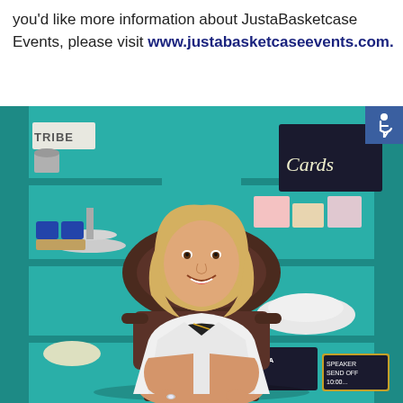you'd like more information about JustaBasketcase Events, please visit www.justabasketcaseevents.com.
[Figure (photo): A smiling blonde woman in a white blazer and black dress sitting in an ornate dark wooden chair in front of teal shelving units filled with event items, cards, and decorations. An accessibility icon appears in the upper right corner of the photo.]